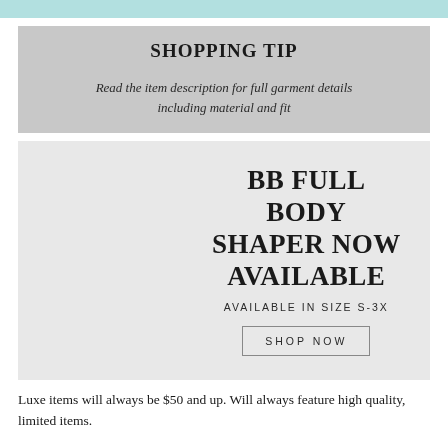SHOPPING TIP
Read the item description for full garment details including material and fit
BB FULL BODY SHAPER NOW AVAILABLE
AVAILABLE IN SIZE S-3X
SHOP NOW
Luxe items will always be $50 and up. Will always feature high quality, limited items.